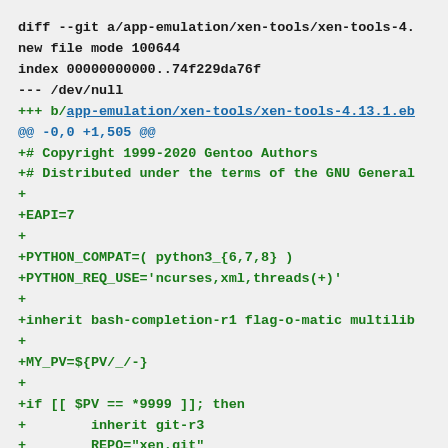diff --git a/app-emulation/xen-tools/xen-tools-4.
new file mode 100644
index 00000000000..74f229da76f
--- /dev/null
+++ b/app-emulation/xen-tools/xen-tools-4.13.1.eb
@@ -0,0 +1,505 @@
+# Copyright 1999-2020 Gentoo Authors
+# Distributed under the terms of the GNU General
+
+EAPI=7
+
+PYTHON_COMPAT=( python3_{6,7,8} )
+PYTHON_REQ_USE='ncurses,xml,threads(+)'
+
+inherit bash-completion-r1 flag-o-matic multilib
+
+MY_PV=${PV/_/-}
+
+if [[ $PV == *9999 ]]; then
+        inherit git-r3
+        REPO="xen.git"